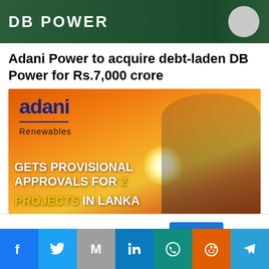[Figure (photo): DB Power banner image with text 'DB POWER' on green background and a circular logo on the right]
Adani Power to acquire debt-laden DB Power for Rs.7,000 crore
[Figure (photo): Adani Renewables promotional image with orange/sunset background, text reading 'adani Renewables GETS PROVISIONAL APPROVALS FOR 2 PROJECTS IN LANKA', with a photo of Gautam Adani on the right side]
This website uses cookies.
Accept
Social share bar: Facebook, Twitter, Mail, LinkedIn, WhatsApp, Reddit, Telegram